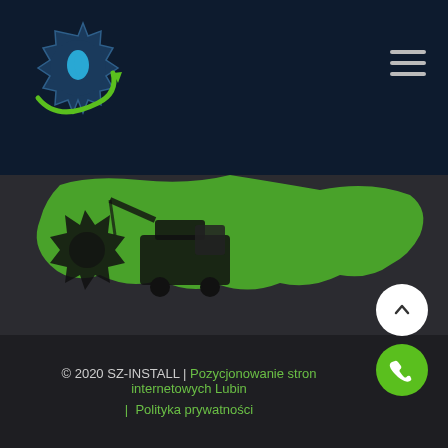[Figure (logo): SZ-INSTALL logo: blue gear with water drop and green swirl arc]
[Figure (illustration): Hamburger menu icon (three horizontal white lines)]
[Figure (illustration): Green silhouette of a region/map with black crane/truck machinery overlay on dark background]
© 2020 SZ-INSTALL | Pozycjonowanie stron internetowych Lubin
| Polityka prywatności